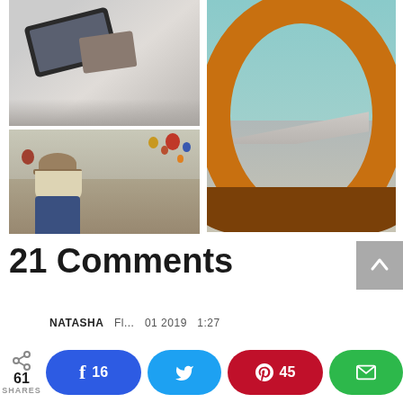[Figure (photo): Three travel photos: top-left shows a phone/tablet on a surface, right shows view of airplane wing through window with orange frame, bottom-left shows a girl with hat watching hot air balloons]
21 Comments
NATASHA   [date] 01 2019 1:27
[Figure (infographic): Social share bar with 61 SHARES, Facebook button showing 16, Twitter button, Pinterest button showing 45, Email button]